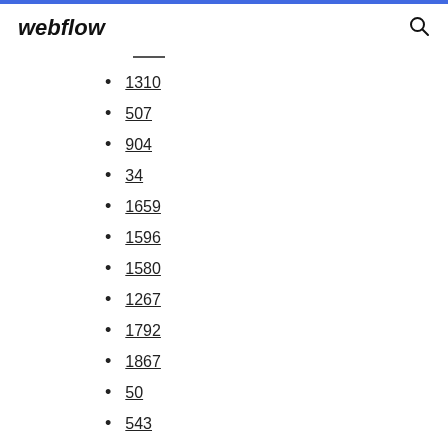webflow
1310
507
904
34
1659
1596
1580
1267
1792
1867
50
543